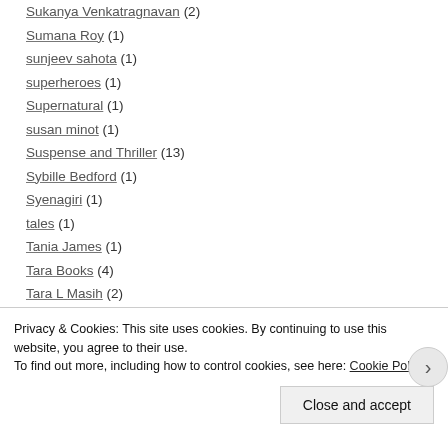Sukanya Venkatragnavan (2)
Sumana Roy (1)
sunjeev sahota (1)
superheroes (1)
Supernatural (1)
susan minot (1)
Suspense and Thriller (13)
Sybille Bedford (1)
Syenagiri (1)
tales (1)
Tania James (1)
Tara Books (4)
Tara L Masih (2)
Privacy & Cookies: This site uses cookies. By continuing to use this website, you agree to their use.
To find out more, including how to control cookies, see here: Cookie Policy
Close and accept